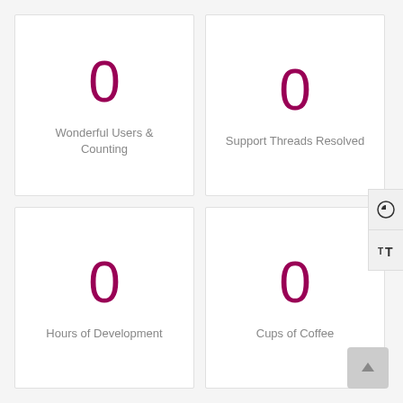0 — Wonderful Users & Counting
0 — Support Threads Resolved
0 — Hours of Development
0 — Cups of Coffee